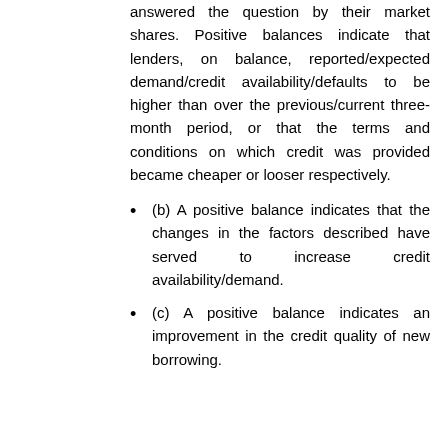answered the question by their market shares. Positive balances indicate that lenders, on balance, reported/expected demand/credit availability/defaults to be higher than over the previous/current three-month period, or that the terms and conditions on which credit was provided became cheaper or looser respectively.
(b) A positive balance indicates that the changes in the factors described have served to increase credit availability/demand.
(c) A positive balance indicates an improvement in the credit quality of new borrowing.